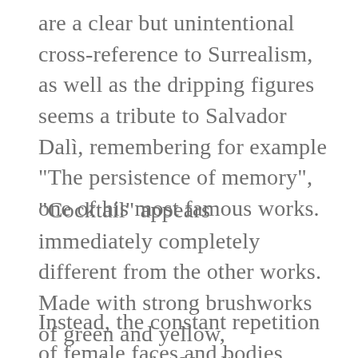are a clear but unintentional cross-reference to Surrealism, as well as the dripping figures seems a tribute to Salvador Dalì, remembering for example “The persistence of memory”, one of his most famous works.
“Cocktail” appears immediately completely different from the other works. Made with strong brushworks of green and yellow, remembers the Nordic expressionism, with a particular reference to the tribal figures and the masks of Emil Nolde.
Instead, the constant repetition of female faces and bodies, recall the works